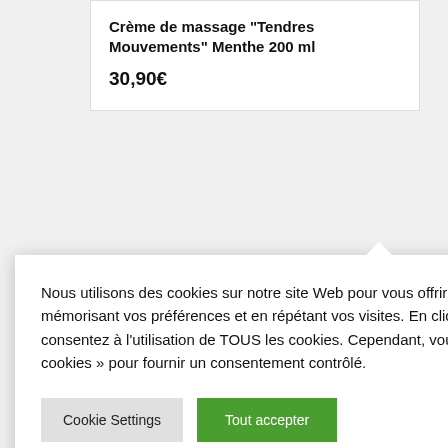Crème de massage “Tendres Mouvements” Menthe 200 ml
30,90€
tails
Nous utilisons des cookies sur notre site Web pour vous offrir l’expérience la plus pertinente en mémorisant vos préférences et en répétant vos visites. En cliquant sur « Tout accepter », vous consentez à l’utilisation de TOUS les cookies. Cependant, vous pouvez visiter « Paramètres des cookies » pour fournir un consentement contrôlé.
Cookie Settings
Tout accepter
Refuser